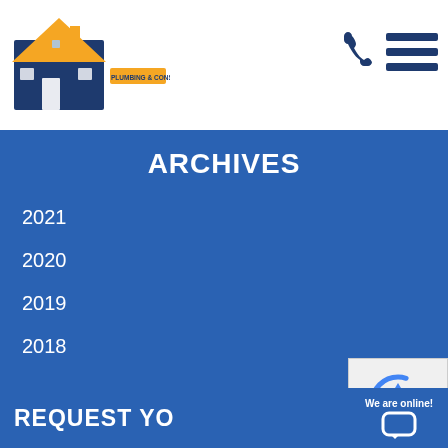[Figure (logo): Schuelke Plumbing & Construction logo with house icon]
ARCHIVES
2021
2020
2019
2018
REQUEST YO
We are online!